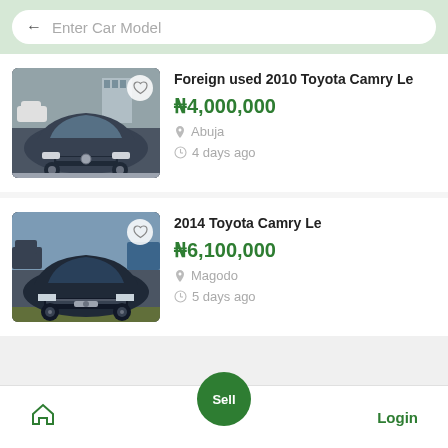← Enter Car Model
[Figure (photo): Front view of a gray/dark Toyota Camry Le, foreign used 2010, parked on a paved area]
Foreign used 2010 Toyota Camry Le
₦4,000,000
Abuja
4 days ago
[Figure (photo): Front view of a black Toyota Camry Le 2014, parked in a lot]
2014 Toyota Camry Le
₦6,100,000
Magodo
5 days ago
Home  Sell  Login